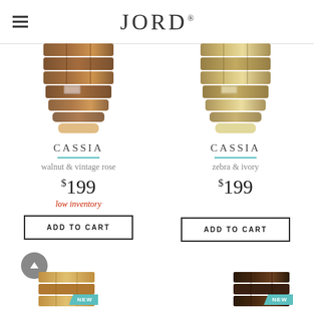JORD
[Figure (photo): Wooden watch bracelet view from below - walnut wood tones]
CASSIA
walnut & vintage rose
$199
low inventory
ADD TO CART
[Figure (photo): Wooden watch bracelet view from below - zebra wood lighter tones]
CASSIA
zebra & ivory
$199
ADD TO CART
[Figure (photo): Partial wooden watch bottom-left with NEW badge]
[Figure (photo): Partial wooden watch bottom-right with NEW badge]